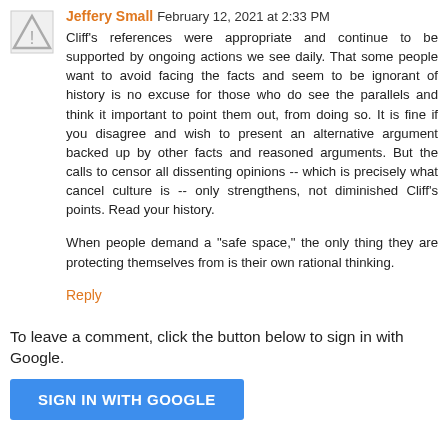Jeffery Small  February 12, 2021 at 2:33 PM
Cliff's references were appropriate and continue to be supported by ongoing actions we see daily. That some people want to avoid facing the facts and seem to be ignorant of history is no excuse for those who do see the parallels and think it important to point them out, from doing so. It is fine if you disagree and wish to present an alternative argument backed up by other facts and reasoned arguments. But the calls to censor all dissenting opinions -- which is precisely what cancel culture is -- only strengthens, not diminished Cliff's points. Read your history.

When people demand a "safe space," the only thing they are protecting themselves from is their own rational thinking.
Reply
To leave a comment, click the button below to sign in with Google.
SIGN IN WITH GOOGLE